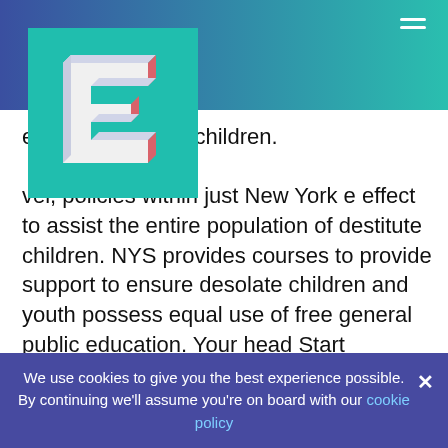[Figure (logo): 3D blue letter E logo on teal square background]
ents of homeless children. vel, policies within just New York e effect to assist the entire population of destitute children. NYS provides courses to provide support to ensure desolate children and youth possess equal use of free general public education. Your head Start software is a section of the macro program, free pre-k is qualified for those family members who cannot afford to pay for education. Another case is, animal shelters for desolate families, sociable workers assisting to get people to and from meetings, school, and jobs. The macro amount of social job focuses on aiding the entire inhabitants of
We use cookies to give you the best experience possible. By continuing we'll assume you're on board with our cookie policy